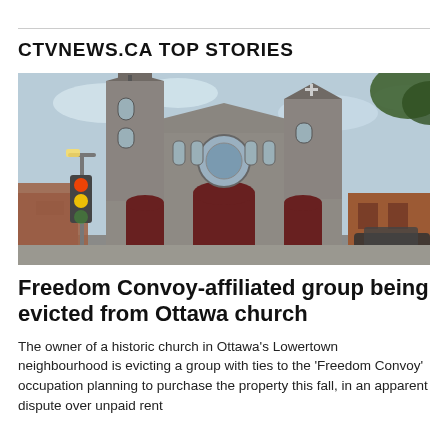CTVNEWS.CA TOP STORIES
[Figure (photo): Exterior photograph of a historic stone church in Ottawa's Lowertown neighbourhood. The church has two tall Gothic towers, red arched doors, and large stained glass windows. A street light and traffic light are visible in the foreground. Trees and brick buildings are visible in the background.]
Freedom Convoy-affiliated group being evicted from Ottawa church
The owner of a historic church in Ottawa's Lowertown neighbourhood is evicting a group with ties to the 'Freedom Convoy' occupation planning to purchase the property this fall, in an apparent dispute over unpaid rent